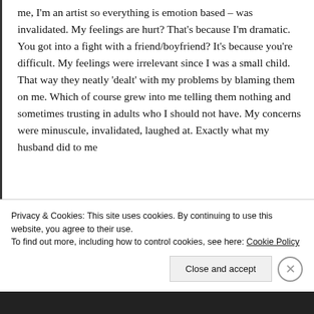me, I'm an artist so everything is emotion based – was invalidated. My feelings are hurt? That's because I'm dramatic. You got into a fight with a friend/boyfriend? It's because you're difficult. My feelings were irrelevant since I was a small child. That way they neatly 'dealt' with my problems by blaming them on me. Which of course grew into me telling them nothing and sometimes trusting in adults who I should not have. My concerns were minuscule, invalidated, laughed at. Exactly what my husband did to me
Privacy & Cookies: This site uses cookies. By continuing to use this website, you agree to their use.
To find out more, including how to control cookies, see here: Cookie Policy
Close and accept